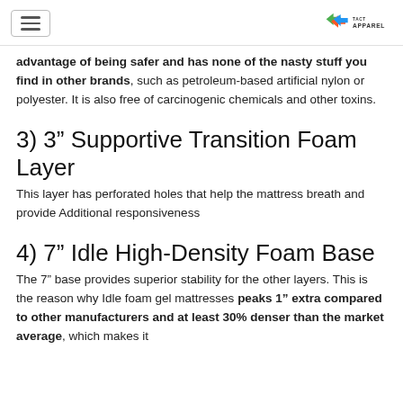[hamburger menu] [TACT APPAREL logo]
advantage of being safer and has none of the nasty stuff you find in other brands, such as petroleum-based artificial nylon or polyester. It is also free of carcinogenic chemicals and other toxins.
3) 3” Supportive Transition Foam Layer
This layer has perforated holes that help the mattress breath and provide Additional responsiveness
4) 7” Idle High-Density Foam Base
The 7” base provides superior stability for the other layers. This is the reason why Idle foam gel mattresses peaks 1” extra compared to other manufacturers and at least 30% denser than the market average, which makes it